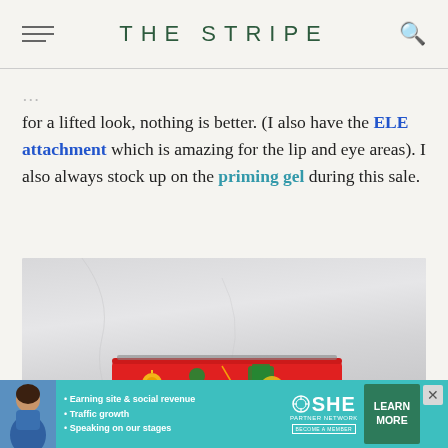THE STRIPE
for a lifted look, nothing is better. (I also have the ELE attachment which is amazing for the lip and eye areas). I also always stock up on the priming gel during this sale.
[Figure (photo): Product photo showing a red holiday-themed pouch/clutch on a light grey fabric background]
[Figure (infographic): SHE Partner Network advertisement banner: Earning site & social revenue, Traffic growth, Speaking on our stages, LEARN MORE button]